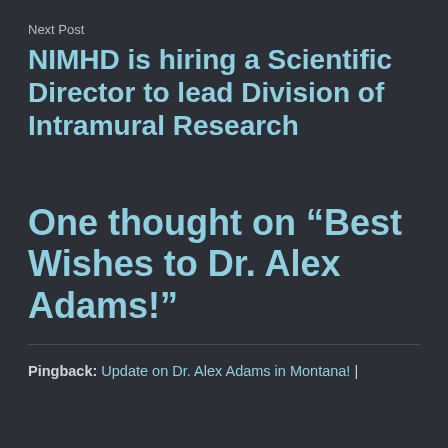Next Post
NIMHD is hiring a Scientific Director to lead Division of Intramural Research
One thought on “Best Wishes to Dr. Alex Adams!”
Pingback: Update on Dr. Alex Adams in Montana! |